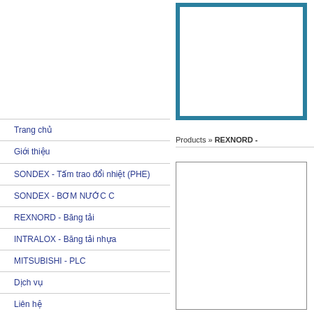[Figure (other): Banner/logo box with teal border on right content area]
Products » REXNORD -
Trang chủ
Giới thiệu
SONDEX - Tấm trao đổi nhiệt (PHE)
SONDEX - BƠM NƯỚC C
REXNORD - Băng tải
INTRALOX - Băng tải nhựa
MITSUBISHI - PLC
Dịch vụ
Liên hệ
Tìm kiếm
[Figure (other): Lower content image/box on right side]